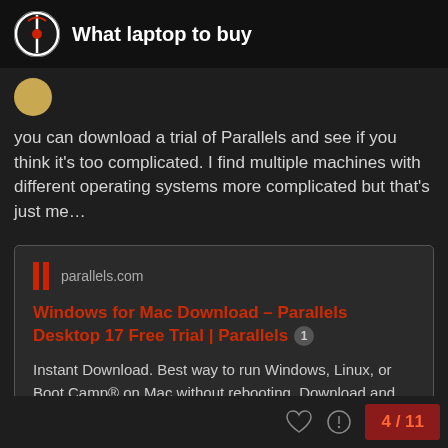What laptop to buy
you can download a trial of Parallels and see if you think it's too complicated. I find multiple machines with different operating systems more complicated but that's just me…
[Figure (screenshot): Link card preview for parallels.com showing 'Windows for Mac Download – Parallels Desktop 17 Free Trial | Parallels' with description: Instant Download. Best way to run Windows, Linux, or Boot Camp® on Mac without rebooting. Download and install Windows 10 in one click. Try Free for 14 Days.]
4 / 11